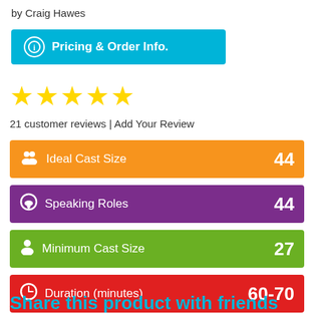by Craig Hawes
Pricing & Order Info.
[Figure (other): Five yellow star rating icons]
21 customer reviews | Add Your Review
Ideal Cast Size  44
Speaking Roles  44
Minimum Cast Size  27
Duration (minutes)  60-70
Share this product with friends